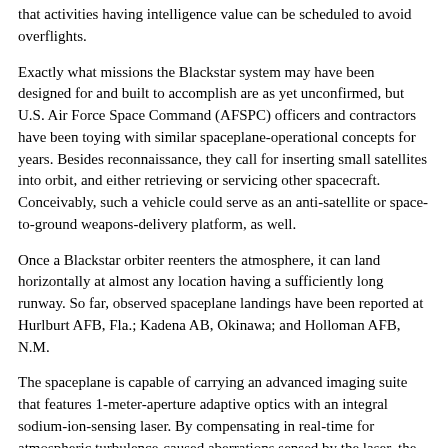that activities having intelligence value can be scheduled to avoid overflights.
Exactly what missions the Blackstar system may have been designed for and built to accomplish are as yet unconfirmed, but U.S. Air Force Space Command (AFSPC) officers and contractors have been toying with similar spaceplane-operational concepts for years. Besides reconnaissance, they call for inserting small satellites into orbit, and either retrieving or servicing other spacecraft. Conceivably, such a vehicle could serve as an anti-satellite or space-to-ground weapons-delivery platform, as well.
Once a Blackstar orbiter reenters the atmosphere, it can land horizontally at almost any location having a sufficiently long runway. So far, observed spaceplane landings have been reported at Hurlburt AFB, Fla.; Kadena AB, Okinawa; and Holloman AFB, N.M.
The spaceplane is capable of carrying an advanced imaging suite that features 1-meter-aperture adaptive optics with an integral sodium-ion-sensing laser. By compensating in real-time for atmospheric turbulence-caused aberrations sensed by the laser, the system is capable of acquiring very detailed images of ground targets or in-space objects, according to industry officials familiar with the package.